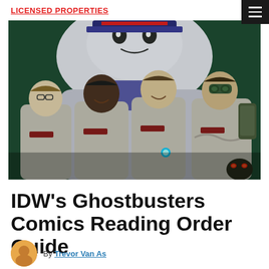LICENSED PROPERTIES
[Figure (illustration): Animated/comic-style illustration of the four Ghostbusters characters in their grey jumpsuits standing in front of the Stay Puft Marshmallow Man against a dark green background. Left to right: Egon (with glasses), Winston, Peter, and Ray (with goggles). A small creature with glowing red eyes is visible at lower right.]
IDW's Ghostbusters Comics Reading Order Guide
By Trevor Van As